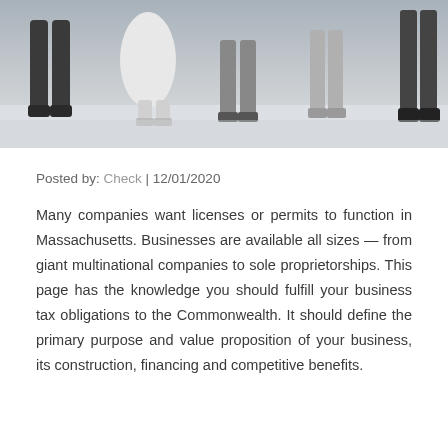[Figure (photo): Cropped photo showing legs and feet of a crowd of people walking on a light-colored surface, viewed from above/mid-level. Monochromatic, muted tones.]
Posted by: Check | 12/01/2020
Many companies want licenses or permits to function in Massachusetts. Businesses are available all sizes — from giant multinational companies to sole proprietorships. This page has the knowledge you should fulfill your business tax obligations to the Commonwealth. It should define the primary purpose and value proposition of your business, its construction, financing and competitive benefits.